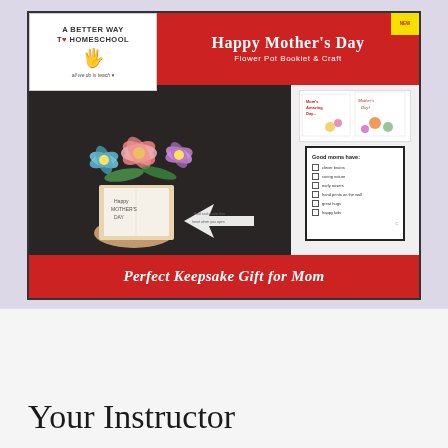[Figure (photo): Happy Mother's Day Flower Pot Booklet & Craft product image showing a handmade flower pot craft with colorful paper flowers, worksheet previews including a 'Good moms have:' checklist, with a red banner header and 'Perfect Keepsake Gift for Mom' footer. Logo for 'A Better Way to Homeschool' in top-left corner.]
Your Instructor